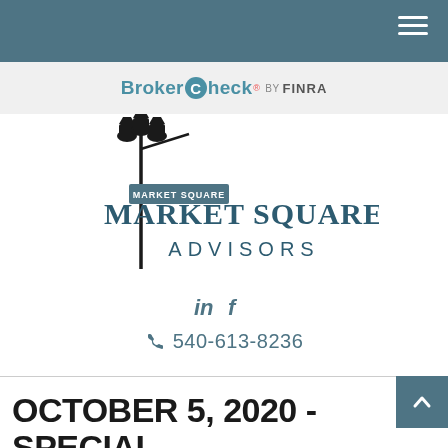Navigation bar with hamburger menu
[Figure (logo): BrokerCheck by FINRA logo in a light grey bar]
[Figure (logo): Market Square Advisors logo with street lamp illustration and text MARKET SQUARE ADVISORS]
[Figure (infographic): LinkedIn and Facebook social media icons]
540-613-8236
OCTOBER 5, 2020 - SPECIAL